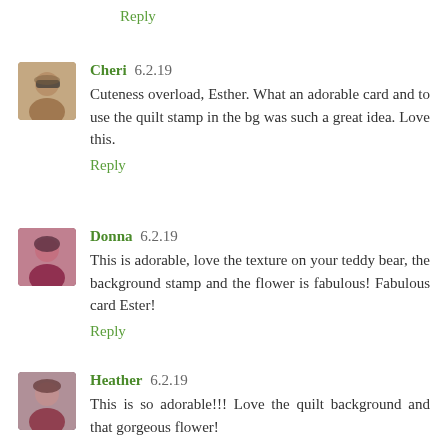Reply
[Figure (photo): Small avatar photo of Cheri, a woman wearing sunglasses outdoors]
Cheri 6.2.19
Cuteness overload, Esther. What an adorable card and to use the quilt stamp in the bg was such a great idea. Love this.
Reply
[Figure (photo): Small avatar photo of Donna, a woman with dark hair]
Donna 6.2.19
This is adorable, love the texture on your teddy bear, the background stamp and the flower is fabulous! Fabulous card Ester!
Reply
[Figure (photo): Small avatar photo of Heather, a woman with brown hair]
Heather 6.2.19
This is so adorable!!! Love the quilt background and that gorgeous flower!